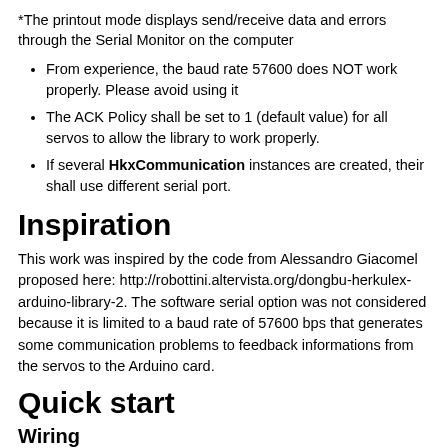*The printout mode displays send/receive data and errors through the Serial Monitor on the computer
From experience, the baud rate 57600 does NOT work properly. Please avoid using it
The ACK Policy shall be set to 1 (default value) for all servos to allow the library to work properly.
If several HkxCommunication instances are created, their shall use different serial port.
Inspiration
This work was inspired by the code from Alessandro Giacomel proposed here: http://robottini.altervista.org/dongbu-herkulex-arduino-library-2. The software serial option was not considered because it is limited to a baud rate of 57600 bps that generates some communication problems to feedback informations from the servos to the Arduino card.
Quick start
Wiring